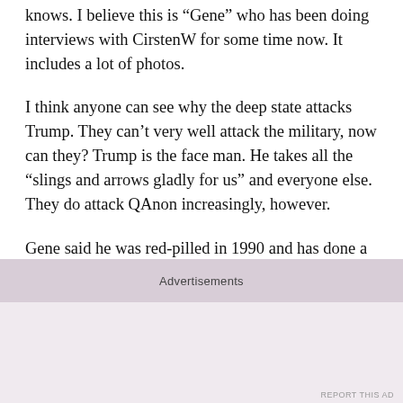knows. I believe this is “Gene” who has been doing interviews with CirstenW for some time now. It includes a lot of photos.
I think anyone can see why the deep state attacks Trump. They can’t very well attack the military, now can they? Trump is the face man. He takes all the “slings and arrows gladly for us” and everyone else. They do attack QAnon increasingly, however.
Gene said he was red-pilled in 1990 and has done a tremendous amount of research and vetting on his own. The discussion centres on the long-range plan (yes, mentions Q and White Hats) to eradicate evil from the four physical realms; space, our skies, the
Advertisements